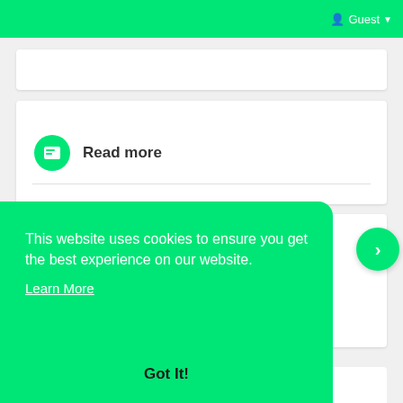Guest
Read more
Comments
This website uses cookies to ensure you get the best experience on our website.
Learn More
Got It!
Search